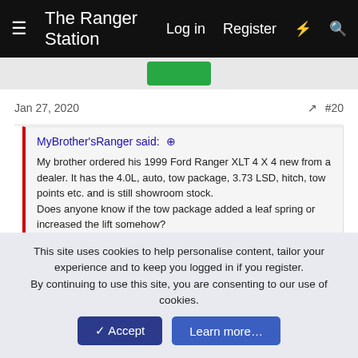The Ranger Station   Log in   Register
Jan 27, 2020   #20
MyBrother'sRanger said: ↗
My brother ordered his 1999 Ford Ranger XLT 4 X 4 new from a dealer. It has the 4.0L, auto, tow package, 3.73 LSD, hitch, tow points etc. and is still showroom stock.
Does anyone know if the tow package added a leaf spring or increased the lift somehow?
Thanks.
No, the tow package at the time was only the hitch. The payload package was a separate option. In later years, like maybe 2008-up, there was the optional BFT Package (Built Ford Tough) that included the hitch and payload package
This site uses cookies to help personalise content, tailor your experience and to keep you logged in if you register.
By continuing to use this site, you are consenting to our use of cookies.